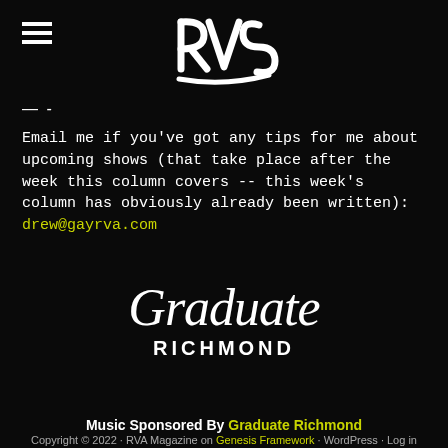[Figure (logo): RVA Magazine logo — stylized 'RVS' lettering in white on black background]
— -
Email me if you've got any tips for me about upcoming shows (that take place after the week this column covers -- this week's column has obviously already been written): drew@gayrva.com
[Figure (logo): Graduate Richmond logo — cursive 'Graduate' script above bold 'RICHMOND' text in white on black]
Music Sponsored By Graduate Richmond
Copyright © 2022 · RVA Magazine on Genesis Framework · WordPress · Log in